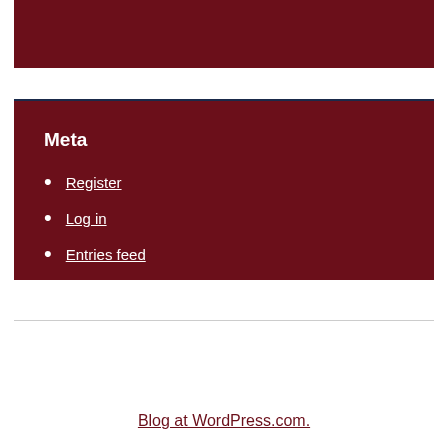[Figure (other): Dark crimson/maroon colored block at the top of the page]
Meta
Register
Log in
Entries feed
Comments feed
WordPress.com
Blog at WordPress.com.